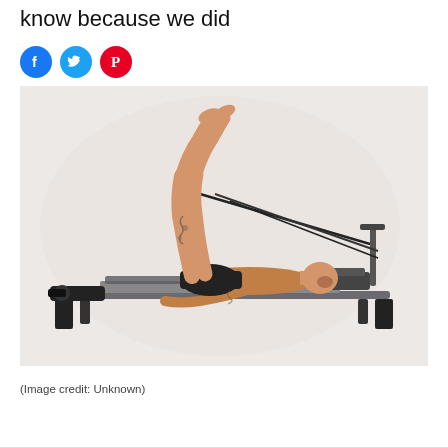know because we did
[Figure (other): Social media share icons: Facebook (blue circle with f), Twitter (blue circle with bird), Pinterest (red circle with P)]
[Figure (photo): A man lying on his back on a Pilates reformer machine, legs raised vertically, using resistance cables attached to foot bar. He has tattoos on his legs and wears black shorts and a brown shirt. The reformer is a long flat platform on legs.]
(Image credit: Unknown)